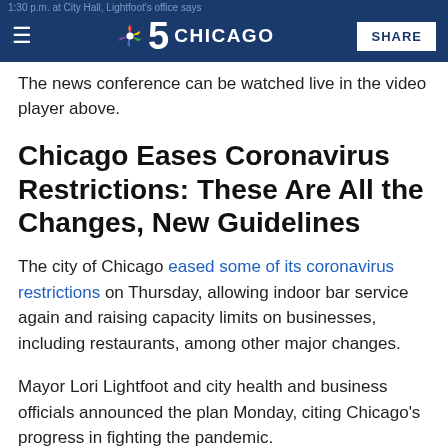1:30 p.m. at City Hall, Lightfoot's office says | NBC 5 CHICAGO | SHARE
The news conference can be watched live in the video player above.
Chicago Eases Coronavirus Restrictions: These Are All the Changes, New Guidelines
The city of Chicago eased some of its coronavirus restrictions on Thursday, allowing indoor bar service again and raising capacity limits on businesses, including restaurants, among other major changes.
Mayor Lori Lightfoot and city health and business officials announced the plan Monday, citing Chicago's progress in fighting the pandemic.